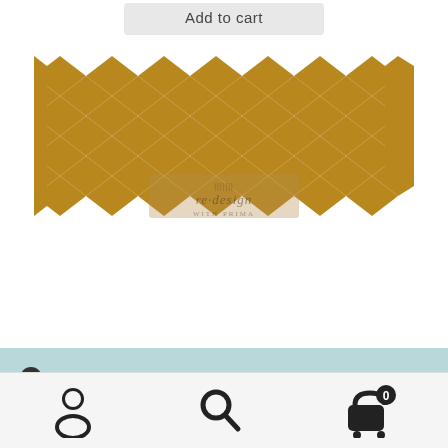[Figure (illustration): A gold/amber harlequin diamond pattern on white background, with a watermark reading 're-design' in the center]
ℹ FREE SHIPPING on orders over $125!! Flat rate $10 shipping on all other orders! All Decor Ink now 25% off! New Muddaritaville Stencils 25% off!
Dismiss
[Figure (infographic): Bottom navigation bar with user/account icon, search icon, and shopping cart icon with badge showing 0]